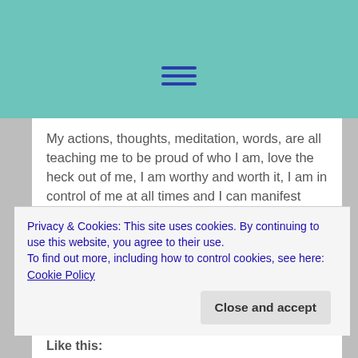[Figure (screenshot): Teal/green header bar with hamburger menu icon (three horizontal lines) centered at top]
My actions, thoughts, meditation, words, are all teaching me to be proud of who I am, love the heck out of me, I am worthy and worth it, I am in control of me at all times and I can manifest what I really want and need by being very clear on what it is I need and want, that firm belief of knowing and understanding.
When everyone opens up to more possibilities, then they open up their life to be richer. Change the channel of your life to change the view. Do the work because in the
Privacy & Cookies: This site uses cookies. By continuing to use this website, you agree to their use.
To find out more, including how to control cookies, see here: Cookie Policy
Close and accept
Like this: